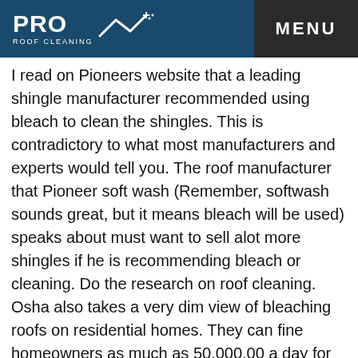PRO ROOF CLEANING | MENU
I read on Pioneers website that a leading shingle manufacturer recommended using bleach to clean the shingles. This is contradictory to what most manufacturers and experts would tell you. The roof manufacturer that Pioneer soft wash (Remember, softwash sounds great, but it means bleach will be used) speaks about must want to sell alot more shingles if he is recommending bleach or cleaning. Do the research on roof cleaning. Osha also takes a very dim view of bleaching roofs on residential homes. They can fine homeowners as much as 50,000.00 a day for the clean-up. If you research roof cleaning, and the potential fines, the question always is, ‘ why isn’t it the companies like window Genie and Pioneer getting the fines?’  The answer is that it is the homeowner that is responsible for what happens on there property, even if these businesses do not inform homeowners that bleach